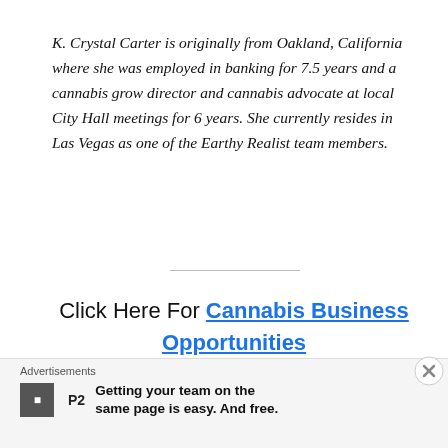K. Crystal Carter is originally from Oakland, California where she was employed in banking for 7.5 years and a cannabis grow director and cannabis advocate at local City Hall meetings for 6 years. She currently resides in Las Vegas as one of the Earthy Realist team members.
Click Here For Cannabis Business Opportunities
Exclusive Cannabis Vendors List
Advertisements
Getting your team on the same page is easy. And free.